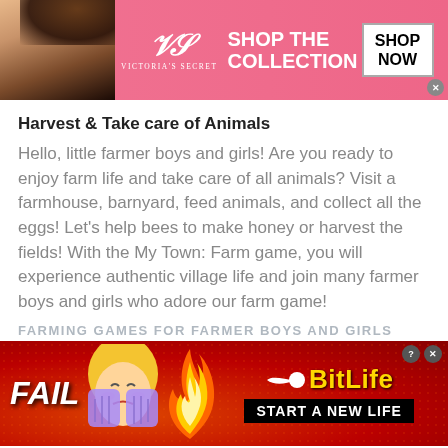[Figure (screenshot): Victoria's Secret advertisement banner with model photo, VS logo, 'SHOP THE COLLECTION' text, and 'SHOP NOW' button on pink background]
Harvest & Take care of Animals
Hello, little farmer boys and girls! Are you ready to enjoy farm life and take care of all animals? Visit a farmhouse, barnyard, feed animals, and collect all the eggs! Let's help bees to make honey or harvest the fields! With the My Town: Farm game, you will experience authentic village life and join many farmer boys and girls who adore our farm game!
[Figure (screenshot): BitLife advertisement banner with 'FAIL' text, animated emoji face, flame graphic, BitLife logo in yellow, and 'START A NEW LIFE' subtitle on red background]